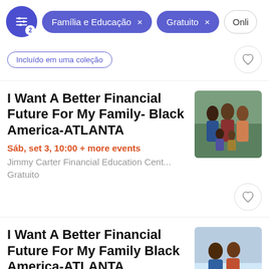Família e Educação × | Gratuito × | Onli...
Incluído em uma coleção
I Want A Better Financial Future For My Family- Black America-ATLANTA
Sáb, set 3, 10:00 + more events
Jimmy Carter Financial Education Cent...
Gratuito
[Figure (photo): Group photo of smiling multi-generational Black family outdoors]
I Want A Better Financial Future For My Family Black America-ATLANTA
[Figure (photo): Photo of smiling Black family with children]